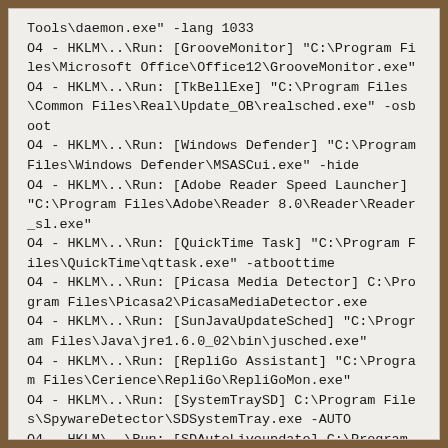Tools\daemon.exe" -lang 1033
O4 - HKLM\..\ Run: [GrooveMonitor] "C:\Program Files\Microsoft Office\Office12\GrooveMonitor.exe"
O4 - HKLM\..\Run: [TkBellExe] "C:\Program Files\Common Files\Real\Update_OB\realsched.exe" -osboot
O4 - HKLM\..\Run: [Windows Defender] "C:\Program Files\Windows Defender\MSASCui.exe" -hide
O4 - HKLM\..\Run: [Adobe Reader Speed Launcher] "C:\Program Files\Adobe\Reader 8.0\Reader\Reader_sl.exe"
O4 - HKLM\..\Run: [QuickTime Task] "C:\Program Files\QuickTime\qttask.exe" -atboottime
O4 - HKLM\..\Run: [Picasa Media Detector] C:\Program Files\Picasa2\PicasaMediaDetector.exe
O4 - HKLM\..\Run: [SunJavaUpdateSched] "C:\Program Files\Java\jre1.6.0_02\bin\jusched.exe"
O4 - HKLM\..\Run: [RepliGo Assistant] "C:\Program Files\Cerience\RepliGo\RepliGoMon.exe"
O4 - HKLM\..\Run: [SystemTraySD] C:\Program Files\SpywareDetector\SDSystemTray.exe -AUTO
O4 - HKLM\..\Run: [SDAutoLiveupdate] C:\Program Files\SpywareDetector\LiveUpdateSD.exe -AUTO
O4 - HKCU\..\Run: [MSMSGS] "C:\Program Files\Messenger\msmsgs.exe" /background